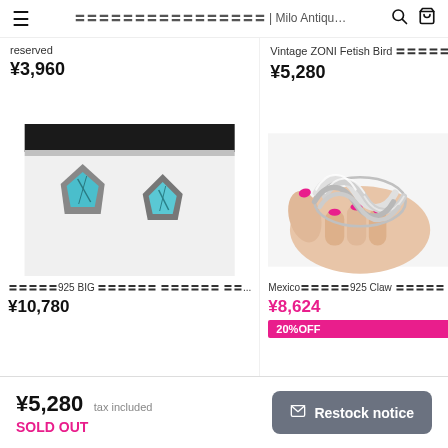☰ 〓〓〓〓〓〓〓〓〓〓〓〓〓〓〓〓 | Milo Antiqu… 🔍 🛒
reserved
¥3,960
Vintage ZONI Fetish Bird 〓〓〓〓〓
¥5,280
[Figure (photo): Two turquoise stone earrings with silver setting on white background]
〓〓〓〓〓925 BIG 〓〓〓〓〓〓 〓〓〓〓〓〓 〓〓...
¥10,780
[Figure (photo): Hand holding silver claw/coil bangle bracelet with pink manicure]
Mexico〓〓〓〓〓925 Claw 〓〓〓〓〓
¥8,624
20%OFF
¥5,280 tax included
SOLD OUT
✉ Restock notice